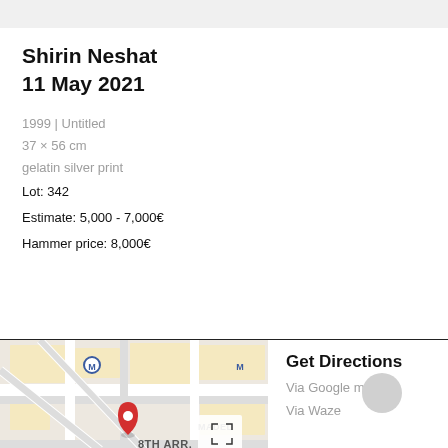Shirin Neshat
11 May 2021
1999 | Untitled
37 × 56 cm
gelatin silver print
Lot: 342
Estimate: 5,000 - 7,000€
Hammer price: 8,000€
[Figure (map): Google Maps screenshot showing 8th arrondissement of Paris with a red location pin, Petit Palais and Palais Galliera labels visible. A fullscreen expand icon is shown top right.]
Get Directions
Via Google maps
Via Waze